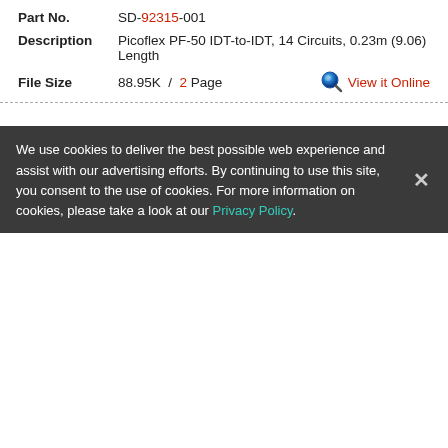Part No. SD-92315-001
Description Picoflex PF-50 IDT-to-IDT, 14 Circuits, 0.23m (9.06) Length
File Size 88.95K / 2 Page  View it Online
Part No. 0923152015
Description Interconnection Device, ROHS COMPLIANT
Tech specs
For 92315 Found Datasheets File :: 150+   Page :: | <1> | 2 | 3 | 4 | 5 | 6 |
We use cookies to deliver the best possible web experience and assist with our advertising efforts. By continuing to use this site, you consent to the use of cookies. For more information on cookies, please take a look at our Privacy Policy.